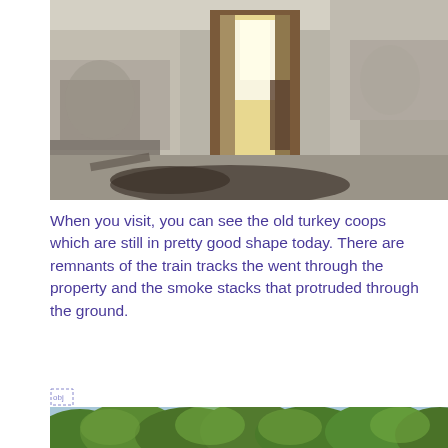[Figure (photo): Interior of an abandoned building with decaying plaster walls, a doorway with brick surrounds leading to a bright corridor, and a dark wet floor with debris.]
When you visit, you can see the old turkey coops which are still in pretty good shape today. There are remnants of the train tracks the went through the property and the smoke stacks that protruded through the ground.
[Figure (photo): Dense green forest canopy viewed from a distance, with lush overlapping tree tops.]